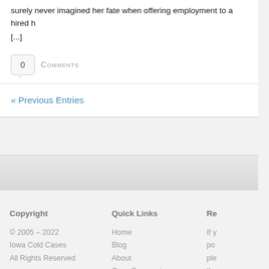surely never imagined her fate when offering employment to a hired h [...]
0 Comments
« Previous Entries
Copyright
© 2005 – 2022
Iowa Cold Cases
All Rights Reserved
Quick Links
Home
Blog
About
Case Summaries
Contact Us
Re
If y po ple the rec Th